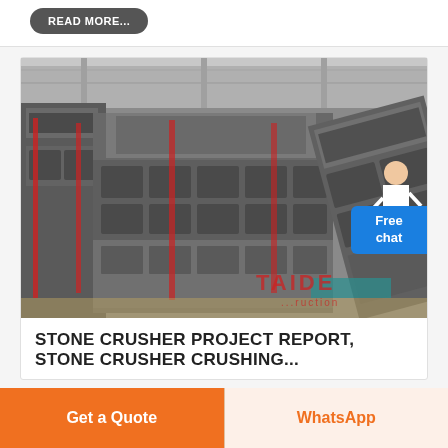READ MORE...
[Figure (photo): Industrial stone crusher machines in a factory/warehouse setting. Large grey steel crusher equipment arranged in rows on a factory floor with high ceilings. Red TAIDE branding watermark visible in the lower right area of the image.]
Free chat
STONE CRUSHER PROJECT REPORT, STONE CRUSHER CRUSHING...
Get a Quote
WhatsApp